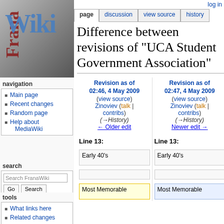log in
navigation
Main page
Recent changes
Random page
Help about MediaWiki
search
tools
What links here
Related changes
Special pages
Printable version
Difference between revisions of "UCA Student Government Association"
Revision as of 02:46, 4 May 2009 (view source) Zinoviev (talk | contribs) (→History) ← Older edit
Revision as of 02:47, 4 May 2009 (view source) Zinoviev (talk | contribs) (→History) Newer edit →
Line 13:
Line 13:
Early 40's
Early 40's
Most Memorable
Most Memorable